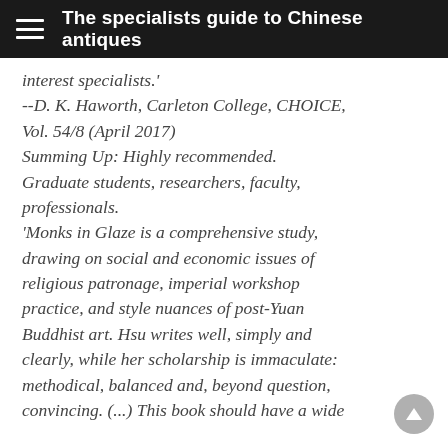The specialists guide to Chinese antiques
interest specialists.' --D. K. Haworth, Carleton College, CHOICE, Vol. 54/8 (April 2017) Summing Up: Highly recommended. Graduate students, researchers, faculty, professionals. 'Monks in Glaze is a comprehensive study, drawing on social and economic issues of religious patronage, imperial workshop practice, and style nuances of post-Yuan Buddhist art. Hsu writes well, simply and clearly, while her scholarship is immaculate: methodical, balanced and, beyond question, convincing. (...) This book should have a wide